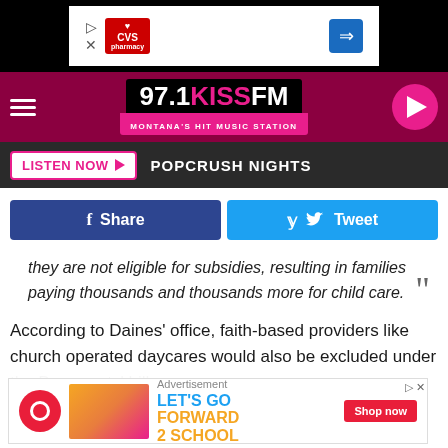[Figure (screenshot): Top advertisement banner with CVS Pharmacy logo and navigation icon on black background]
[Figure (logo): 97.1 KISS FM Montana's Hit Music Station radio station header with hamburger menu and play button]
LISTEN NOW ▶  POPCRUSH NIGHTS
[Figure (screenshot): Facebook Share and Twitter Tweet social sharing buttons]
they are not eligible for subsidies, resulting in families paying thousands and thousands more for child care.
According to Daines' office, faith-based providers like church operated daycares would also be excluded under the Democrats' bill.
Rep. Ja...acts to chil...n a
[Figure (screenshot): Bottom advertisement banner: LET'S GO FORWARD 2 SCHOOL with Shop now button]